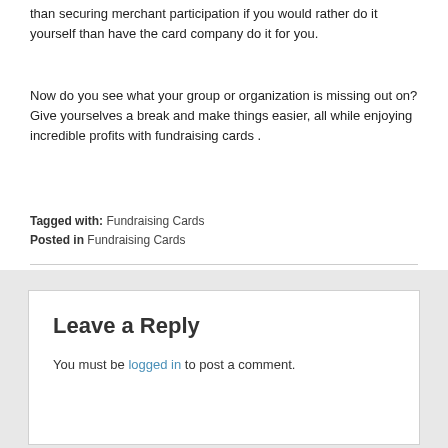than securing merchant participation if you would rather do it yourself than have the card company do it for you.
Now do you see what your group or organization is missing out on? Give yourselves a break and make things easier, all while enjoying incredible profits with fundraising cards .
Tagged with: Fundraising Cards
Posted in Fundraising Cards
Leave a Reply
You must be logged in to post a comment.